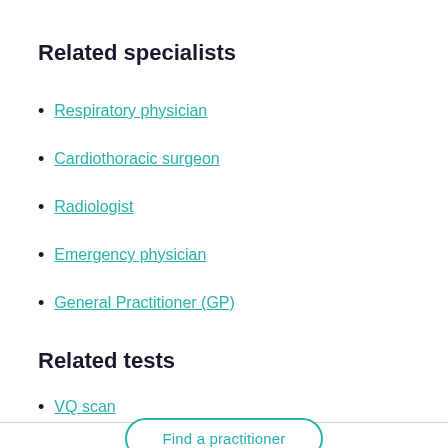Related specialists
Respiratory physician
Cardiothoracic surgeon
Radiologist
Emergency physician
General Practitioner (GP)
Related tests
VQ scan
Find a practitioner